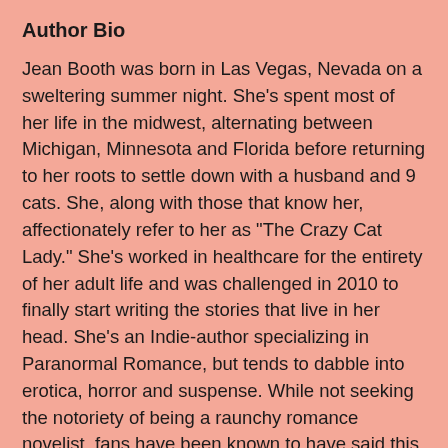Author Bio
Jean Booth was born in Las Vegas, Nevada on a sweltering summer night. She's spent most of her life in the midwest, alternating between Michigan, Minnesota and Florida before returning to her roots to settle down with a husband and 9 cats. She, along with those that know her, affectionately refer to her as "The Crazy Cat Lady." She's worked in healthcare for the entirety of her adult life and was challenged in 2010 to finally start writing the stories that live in her head. She's an Indie-author specializing in Paranormal Romance, but tends to dabble into erotica, horror and suspense. While not seeking the notoriety of being a raunchy romance novelist, fans have been known to have said this about her love scenes: "Hot, steamy, detailed and so explicit I couldn't wait to be alone with my man!"When not writing, Jean enjoys cruising on the